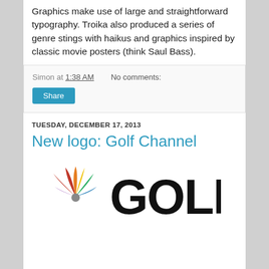Graphics make use of large and straightforward typography. Troika also produced a series of genre stings with haikus and graphics inspired by classic movie posters (think Saul Bass).
Simon at 1:38 AM   No comments:
Share
TUESDAY, DECEMBER 17, 2013
New logo: Golf Channel
[Figure (logo): NBC peacock logo and GOLF text logo for Golf Channel]